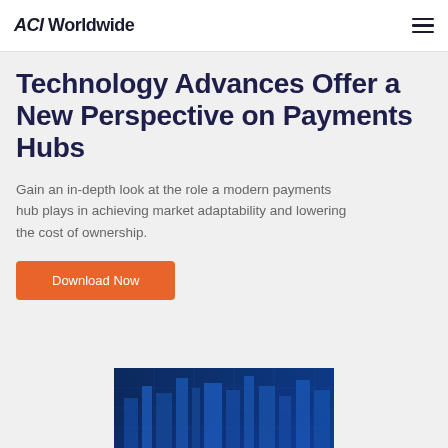ACI Worldwide
Technology Advances Offer a New Perspective on Payments Hubs
Gain an in-depth look at the role a modern payments hub plays in achieving market adaptability and lowering the cost of ownership.
Download Now
[Figure (photo): Blue-tinted technology/city aerial photograph used as decorative image at the bottom of the page]